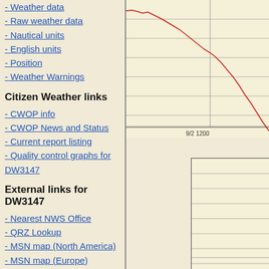- Weather data
- Raw weather data
- Nautical units
- English units
- Position
- Weather Warnings
Citizen Weather links
- CWOP info
- CWOP News and Status
- Current report listing
- Quality control graphs for DW3147
External links for DW3147
- Nearest NWS Office
- QRZ Lookup
- MSN map (North America)
- MSN map (Europe)
- MSN map (world)
[Figure (continuous-plot): Line chart showing a declining trend (red line) over time, with x-axis label '9/2 1200'. Chart has horizontal gridlines on cream/yellow background.]
[Figure (other): Partial chart or table grid visible in lower right corner, showing horizontal lines on cream background.]